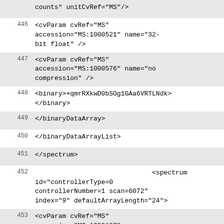counts" unitCvRef="MS"/>
446    <cvParam cvRef="MS" accession="MS:1000521" name="32-bit float" />
447    <cvParam cvRef="MS" accession="MS:1000576" name="no compression" />
448    <binary>+qmrRXkwD0bSOg1GAa6VRTLNdk></binary>
449    </binaryDataArray>
450    </binaryDataArrayList>
451    </spectrum>
452    <spectrum id="controllerType=0 controllerNumber=1 scan=6072" index="9" defaultArrayLength="24">
453    <cvParam cvRef="MS" accession="MS:1000127" name="centroid spectrum" />
454    <cvParam cvRef="MS" accession="MS:1000511" name="ms level" value="1" />
455